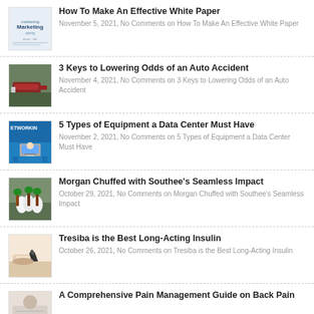How To Make An Effective White Paper
November 5, 2021, No Comments on How To Make An Effective White Paper
3 Keys to Lowering Odds of an Auto Accident
November 4, 2021, No Comments on 3 Keys to Lowering Odds of an Auto Accident
5 Types of Equipment a Data Center Must Have
November 2, 2021, No Comments on 5 Types of Equipment a Data Center Must Have
Morgan Chuffed with Southee's Seamless Impact
October 29, 2021, No Comments on Morgan Chuffed with Southee's Seamless Impact
Tresiba is the Best Long-Acting Insulin
October 26, 2021, No Comments on Tresiba is the Best Long-Acting Insulin
A Comprehensive Pain Management Guide on Back Pain